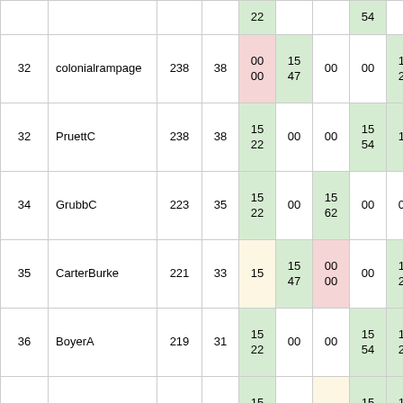| Rank | Name | Pts | GP | C1 | C2 | C3 | C4 | C5 | C6 |
| --- | --- | --- | --- | --- | --- | --- | --- | --- | --- |
|  |  |  |  | 22 |  |  | 54 |  | 0 |
| 32 | colonialrampage | 238 | 38 | 00
00 | 15
47 | 00 | 00 | 15
27 | 1 |
| 32 | PruettC | 238 | 38 | 15
22 | 00 | 00 | 15
54 | 15 | 1 |
| 34 | GrubbC | 223 | 35 | 15
22 | 00 | 15
62 | 00 | 00 | 1 |
| 35 | CarterBurke | 221 | 33 | 15 | 15
47 | 00
00 | 00 | 15
27 | 0 |
| 36 | BoyerA | 219 | 31 | 15
22 | 00 | 00 | 15
54 | 15
27 | 1
0 |
| 37 | LiptonM | 211 | 29 | 15
22 | 00 | 15 | 15
54 | 15
27 | 1 |
| 38 | ScrosatiS | 208 | 27 | 00 | 00 | 00 | 15
54 | 00 | 1
0 |
| 39 | SaferMR | 206 | 25 | 15
22 | 15 | 00 | 00 | 15
27 | 1 |
| 40 | MowattP | 198 | 24 | 15 | 00 | 00 | 00 | 15 | 1 |